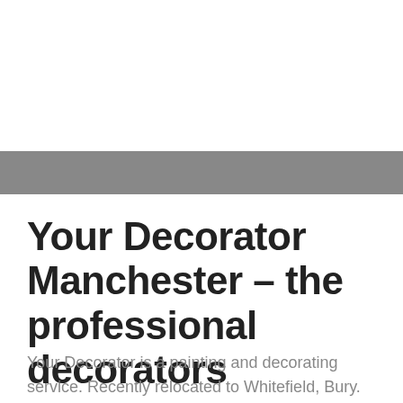[Figure (other): Gray horizontal banner bar across the page]
Your Decorator Manchester – the professional decorators
Your Decorator is a painting and decorating service. Recently relocated to Whitefield, Bury. Serving the whole of